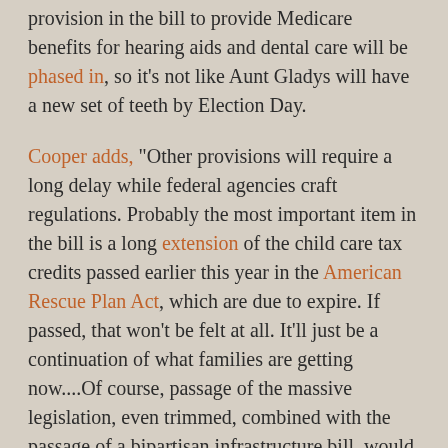provision in the bill to provide Medicare benefits for hearing aids and dental care will be phased in, so it's not like Aunt Gladys will have a new set of teeth by Election Day.
Cooper adds, "Other provisions will require a long delay while federal agencies craft regulations. Probably the most important item in the bill is a long extension of the child care tax credits passed earlier this year in the American Rescue Plan Act, which are due to expire. If passed, that won't be felt at all. It'll just be a continuation of what families are getting now....Of course, passage of the massive legislation, even trimmed, combined with the passage of a bipartisan infrastructure bill, would give Democrats some bragging rights come November 2022. But if Build Back Better doesn't pass, Biden can still run on what he's done: overseen the vaccination of what will be more (possibly way more) than 200 million Americans;